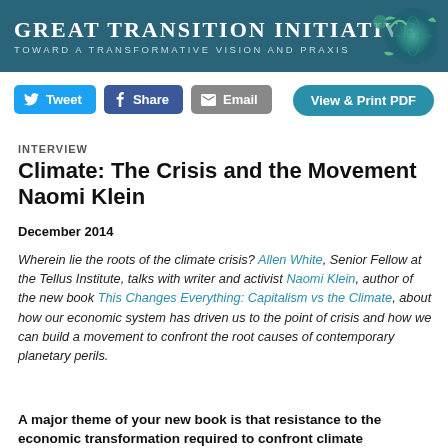Great Transition Initiative — Toward a Transformative Vision and Praxis
Tweet  Share  Email  View & Print PDF
INTERVIEW
Climate: The Crisis and the Movement
Naomi Klein
December 2014
Wherein lie the roots of the climate crisis? Allen White, Senior Fellow at the Tellus Institute, talks with writer and activist Naomi Klein, author of the new book This Changes Everything: Capitalism vs the Climate, about how our economic system has driven us to the point of crisis and how we can build a movement to confront the root causes of contemporary planetary perils.
A major theme of your new book is that resistance to the economic transformation required to confront climate